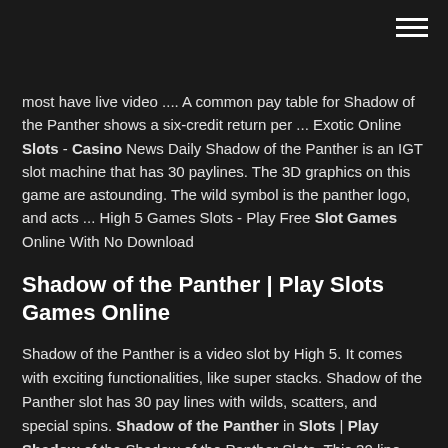[Figure (other): Hamburger menu icon (three horizontal white lines) in top right corner]
most have live video .... A common pay table for Shadow of the Panther shows a six-credit return per ... Exotic Online Slots - Casino News Daily Shadow of the Panther is an IGT slot machine that has 30 paylines. The 3D graphics on this game are astounding. The wild symbol is the panther logo, and acts ... High 5 Games Slots - Play Free Slot Games Online With No Download
Shadow of the Panther | Play Slots Games Online
Shadow of the Panther is a video slot by High 5. It comes with exciting functionalities, like super stacks. Shadow of the Panther slot has 30 pay lines with wilds, scatters, and special spins. Shadow of the Panther in Slots | Play Shadow of the Shadow of the Panther Slots. This 30 line slot is